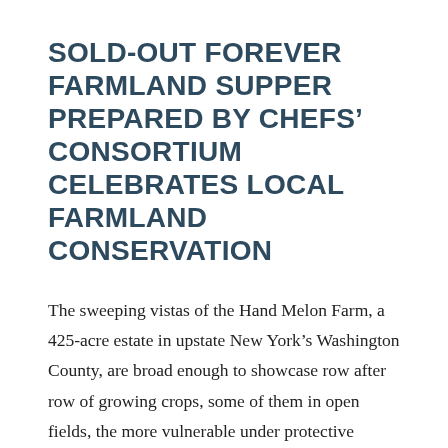SOLD-OUT FOREVER FARMLAND SUPPER PREPARED BY CHEFS' CONSORTIUM CELEBRATES LOCAL FARMLAND CONSERVATION
The sweeping vistas of the Hand Melon Farm, a 425-acre estate in upstate New York's Washington County, are broad enough to showcase row after row of growing crops, some of them in open fields, the more vulnerable under protective netting. On Thursday, August 4, the view was complemented by rows of split chickens sizzling on [...]